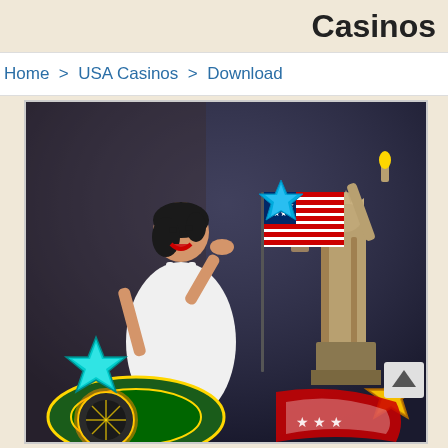Casinos
Home > USA Casinos > Download
[Figure (photo): Promotional casino image featuring a smiling woman in a white dress holding a USA flag, a roulette table, decorative stars, and the Statue of Liberty in the background.]